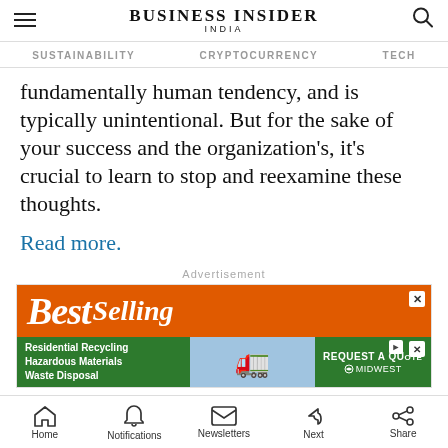BUSINESS INSIDER INDIA
SUSTAINABILITY   CRYPTOCURRENCY   TECH
fundamentally human tendency, and is typically unintentional. But for the sake of your success and the organization's, it's crucial to learn to stop and reexamine these thoughts.
Read more.
[Figure (screenshot): Advertisement banner showing 'Best Selling' text on orange background, and a green banner for 'Residential Recycling Hazardous Materials Waste Disposal' with truck image and 'REQUEST A QUOTE' and 'MIDWEST' text]
Home  Notifications  Newsletters  Next  Share